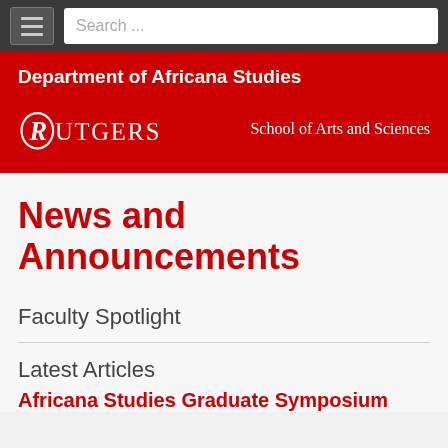Search ...
Department of Africana Studies
[Figure (logo): Rutgers School of Arts and Sciences logo with wordmark in white on red background]
News and Announcements
Faculty Spotlight
Latest Articles
Africana Studies Graduate Symposium